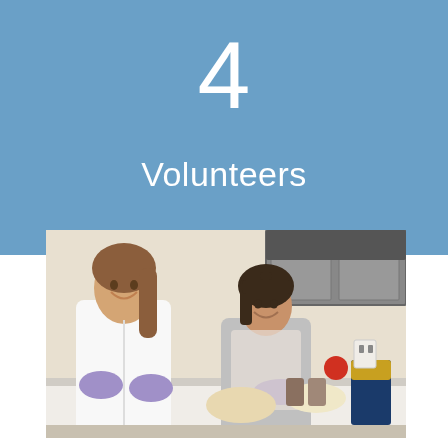4
Volunteers
[Figure (photo): Two women wearing white aprons and purple latex gloves smiling in a kitchen, working with food ingredients on a counter. Kitchen cabinets and appliances visible in background.]